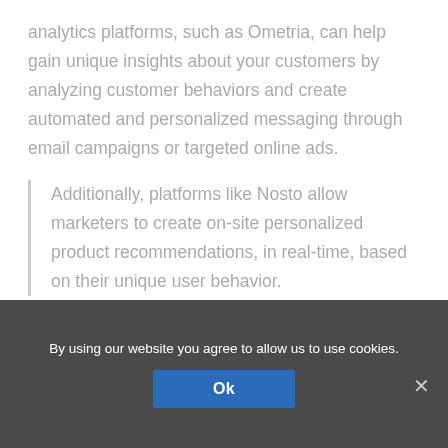analytics platforms, such as Ometria, can help gain unique insights about your customers by analyzing customer behaviors and create automated and personalized messaging through email campaigns or targeted online ads.
Additionally, platforms like Nosto allow marketers to create on-site personalized product recommendations, in real-time, based on their unique user behavior.
By using our website you agree to allow us to use cookies. Ok ×